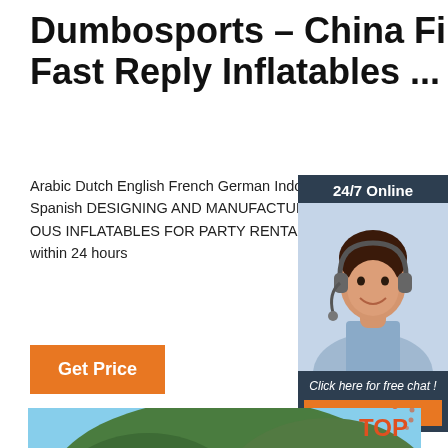Dumbosports – China First 24×7 Fast Reply Inflatables ...
Arabic Dutch English French German Indonesian Japanese Korean Portuguese Russian Spanish DESIGNING AND MANUFACTURING VARIOUS INFLATABLES FOR PARTY RENTAL BUSINESS questions, we will give a solution within 24 hours
Get Price
[Figure (photo): Customer service representative woman with headset, 24/7 Online chat widget with dark background, orange QUOTATION button]
[Figure (photo): Outdoor inflatable bounce house with blue and yellow stripes against trees and blue sky, with red dotted TOP badge]